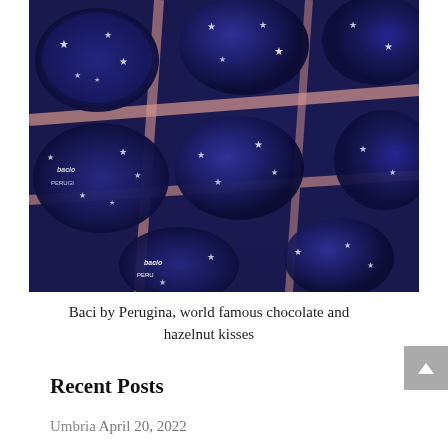[Figure (photo): Close-up photo of Baci by Perugina chocolates in dark blue star-patterned foil wrappers arranged in rows]
Baci by Perugina, world famous chocolate and hazelnut kisses
Recent Posts
Umbria April 20, 2022